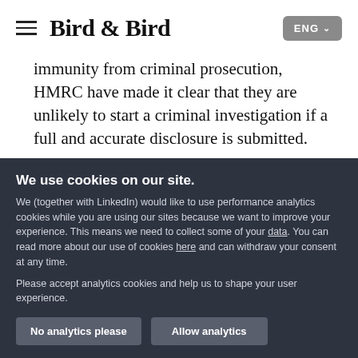Bird & Bird | ENG
immunity from criminal prosecution, HMRC have made it clear that they are unlikely to start a criminal investigation if a full and accurate disclosure is submitted.
MNEs could be forgiven for believing that the PDCF was no longer available.  The original guidance
We use cookies on our site.
We (together with LinkedIn) would like to use performance analytics cookies while you are using our sites because we want to improve your experience. This means we need to collect some of your data. You can read more about our use of cookies here and can withdraw your consent at any time.
Please accept analytics cookies and help us to shape your user experience.
No analytics please
Allow analytics